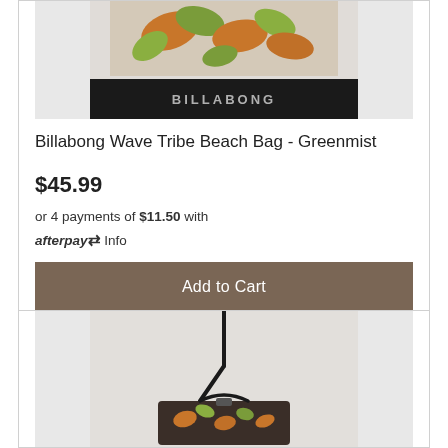[Figure (photo): Billabong Wave Tribe Beach Bag in Greenmist color — black bag with tropical floral pattern on top portion, BILLABONG text on black band]
Billabong Wave Tribe Beach Bag - Greenmist
$45.99
or 4 payments of $11.50 with afterpay Info
Add to Cart
[Figure (photo): A small crossbody bag with tropical floral print pattern, black shoulder strap, shown on light gray background]